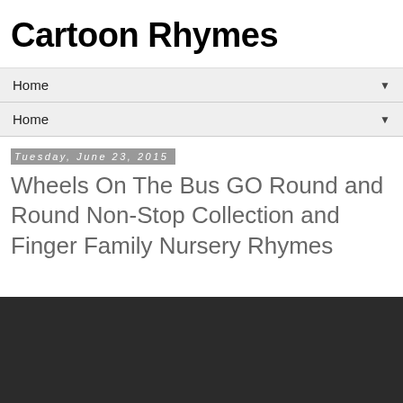Cartoon Rhymes
Home ▼
Home ▼
Tuesday, June 23, 2015
Wheels On The Bus GO Round and Round Non-Stop Collection and Finger Family Nursery Rhymes
[Figure (other): Dark video player area at the bottom of the page]